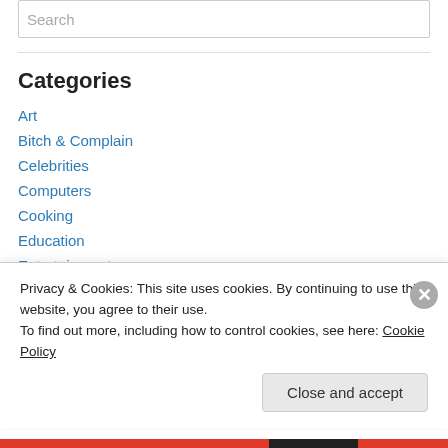Search
Categories
Art
Bitch & Complain
Celebrities
Computers
Cooking
Education
Entertainment
Food Related
Privacy & Cookies: This site uses cookies. By continuing to use this website, you agree to their use.
To find out more, including how to control cookies, see here: Cookie Policy
Close and accept